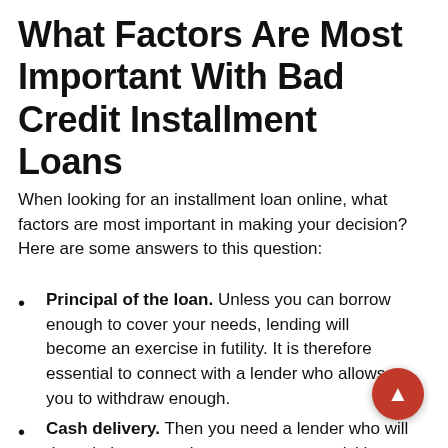What Factors Are Most Important With Bad Credit Installment Loans
When looking for an installment loan online, what factors are most important in making your decision? Here are some answers to this question:
Principal of the loan. Unless you can borrow enough to cover your needs, lending will become an exercise in futility. It is therefore essential to connect with a lender who allows you to withdraw enough.
Cash delivery. Then you need a lender who will deposit the money into your account quickly within a business day or two. Timing is often crucial with installment loans.